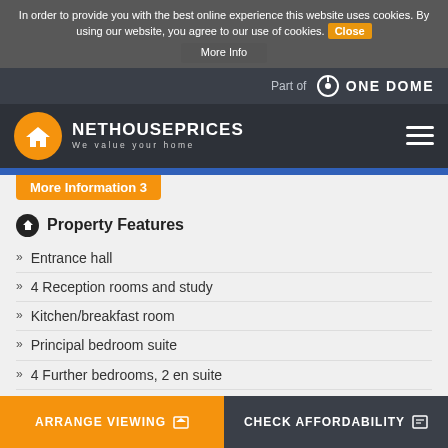In order to provide you with the best online experience this website uses cookies. By using our website, you agree to our use of cookies. Close
More Info
Part of ONE DOME
[Figure (logo): NetHousePrices logo with orange circle house icon and text NETHOUSEPRICES We value your home]
More Information 3
Property Features
Entrance hall
4 Reception rooms and study
Kitchen/breakfast room
Principal bedroom suite
4 Further bedrooms, 2 en suite
Property Description
ARRANGE VIEWING
CHECK AFFORDABILITY